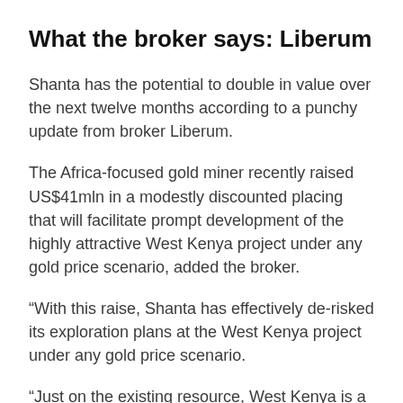What the broker says: Liberum
Shanta has the potential to double in value over the next twelve months according to a punchy update from broker Liberum.
The Africa-focused gold miner recently raised US$41mln in a modestly discounted placing that will facilitate prompt development of the highly attractive West Kenya project under any gold price scenario, added the broker.
“With this raise, Shanta has effectively de-risked its exploration plans at the West Kenya project under any gold price scenario.
“Just on the existing resource, West Kenya is a game